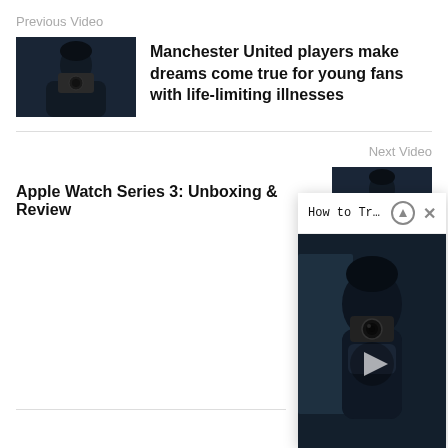Previous Video
[Figure (photo): Thumbnail of person holding camera against dark blue background]
Manchester United players make dreams come true for young fans with life-limiting illnesses
Next Video
Apple Watch Series 3: Unboxing & Review
[Figure (photo): Thumbnail of person in dark beanie holding camera]
How to Travel To Cuba as ...
[Figure (photo): Video player showing person in dark beanie holding camera with play button overlay]